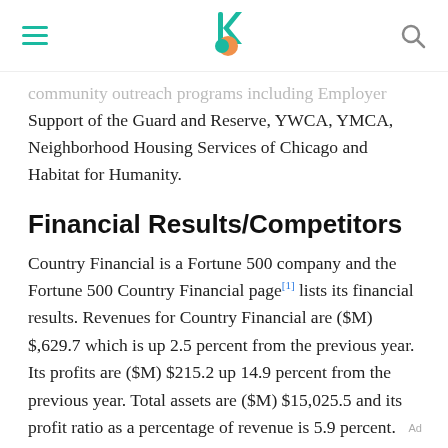[navigation header with hamburger menu, logo, and search icon]
community outreach programs including Employer Support of the Guard and Reserve, YWCA, YMCA, Neighborhood Housing Services of Chicago and Habitat for Humanity.
Financial Results/Competitors
Country Financial is a Fortune 500 company and the Fortune 500 Country Financial page[1] lists its financial results. Revenues for Country Financial are ($M) $,629.7 which is up 2.5 percent from the previous year. Its profits are ($M) $215.2 up 14.9 percent from the previous year. Total assets are ($M) $15,025.5 and its profit ratio as a percentage of revenue is 5.9 percent.
Ad